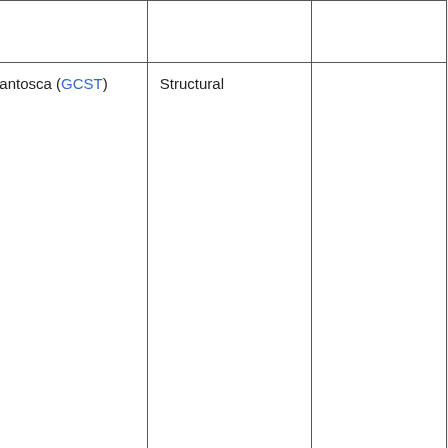| Description | Who | Type |  |
| --- | --- | --- | --- |
| for C2H6 |  |  |  |
| Add routine to save the GC species database to JSON format (commented out) | Bob Yantosca (GCST) | Structural |  |
| Add RRTMG fluxes to netCDF diagnostics | Bob Yantosca (GCST) | Structural |  |
| Fix for CO2 simulation chemical ... | Beata Bukosa (U. Wollongong) | Bug fix |  |